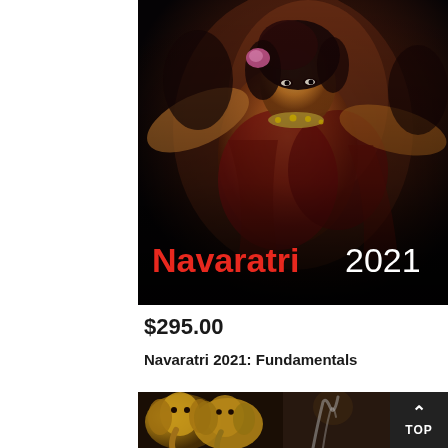[Figure (photo): Navaratri 2021 product image showing a colorful Hindu goddess figurine/statue on dark background, with large text overlay reading 'Navaratri 2021' in red and white]
$295.00
☆☆☆☆☆
Navaratri 2021: Fundamentals
[Figure (photo): Bottom image showing golden Ganesha statues/figurines on the left side and a blurred person on the right, partially visible]